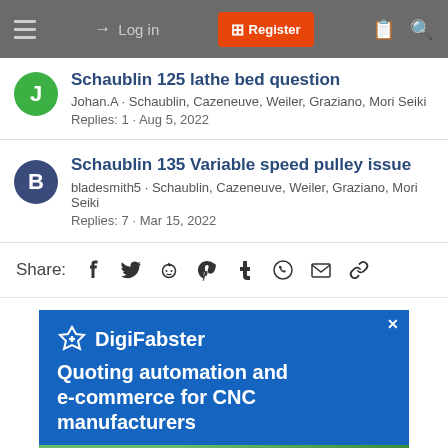Log in | Register
Schaublin 125 lathe bed question · Johan.A · Schaublin, Cazeneuve, Weiler, Graziano, Mori Seiki · Replies: 1 · Aug 5, 2022
Schaublin 135 Variable speed pulley issue · bladesmith5 · Schaublin, Cazeneuve, Weiler, Graziano, Mori Seiki · Replies: 7 · Mar 15, 2022
Share:
[Figure (infographic): DigiFabster advertisement banner: blue background with star/gear logo icon, brand name DigiFabster, text 'Quoting automation and e-commerce for CNC manufacturers', green diagonal stripe at bottom]
Quoting automation and e-commerce for CNC manufacturers